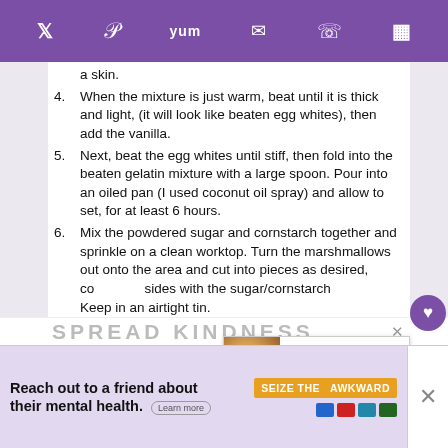Social share icons: Twitter, Pinterest, Yummly, Email, WhatsApp, Flipboard
a skin.
4. When the mixture is just warm, beat until it is thick and light, (it will look like beaten egg whites), then add the vanilla.
5. Next, beat the egg whites until stiff, then fold into the beaten gelatin mixture with a large spoon. Pour into an oiled pan (I used coconut oil spray) and allow to set, for at least 6 hours.
6. Mix the powdered sugar and cornstarch together and sprinkle on a clean worktop. Turn the marshmallows out onto the area and cut into pieces as desired, coating all sides with the sugar/cornstarch mixture. Keep in an airtight tin.
WHAT'S NEXT → How to Make Sausages...
SPREAD KINDNESS
Reach out to a friend about their mental health. Learn more | SEIZE THE AWKWARD